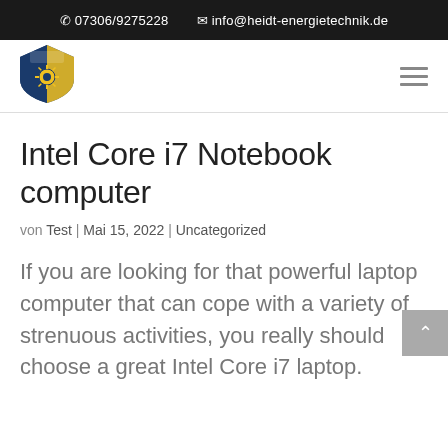07306/9275228   info@heidt-energietechnik.de
[Figure (logo): Heidt Energietechnik company logo — shield shaped with blue and yellow sections and a gear/sun symbol]
Intel Core i7 Notebook computer
von Test | Mai 15, 2022 | Uncategorized
If you are looking for that powerful laptop computer that can cope with a variety of strenuous activities, you really should choose a great Intel Core i7 laptop.